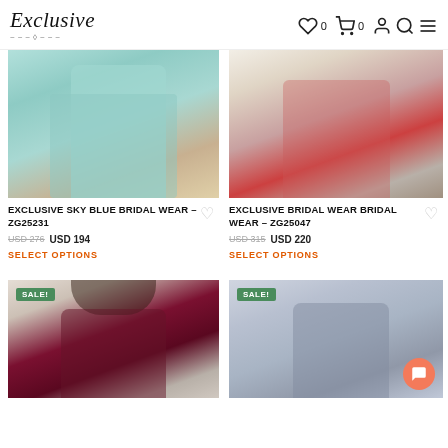Exclusive — navigation with wishlist (0), cart (0), account, search, menu icons
[Figure (photo): Product photo: light blue/teal Pakistani bridal wear dress on a model outdoors]
EXCLUSIVE SKY BLUE BRIDAL WEAR – ZG25231
USD 276  USD 194
SELECT OPTIONS
[Figure (photo): Product photo: cream/beige bridal wear with red dupatta on model indoors]
EXCLUSIVE BRIDAL WEAR BRIDAL WEAR – ZG25047
USD 315  USD 220
SELECT OPTIONS
[Figure (photo): Product photo (SALE): dark maroon/purple outfit on model indoors with chandelier]
[Figure (photo): Product photo (SALE): blue/grey outfit on model indoors]